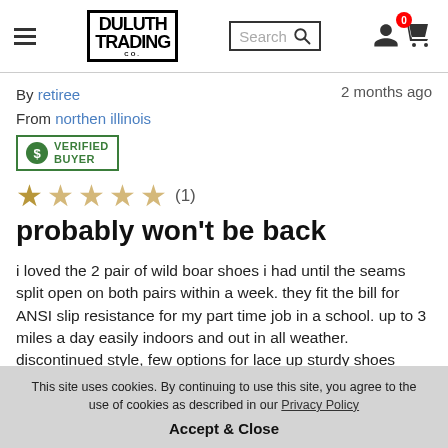Duluth Trading Co — Search bar — Cart icon
By retiree
From northen illinois
[VERIFIED BUYER badge]
2 months ago
[Figure (other): Star rating: 1 out of 5 stars (1 review)]
probably won't be back
i loved the 2 pair of wild boar shoes i had until the seams split open on both pairs within a week. they fit the bill for ANSI slip resistance for my part time job in a school. up to 3 miles a day easily indoors and out in all weather. discontinued style, few options for lace up sturdy shoes
This site uses cookies. By continuing to use this site, you agree to the use of cookies as described in our Privacy Policy
Accept & Close